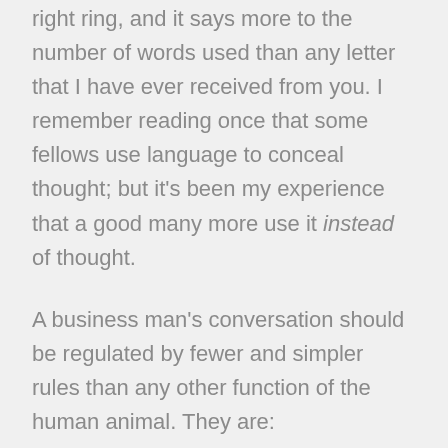right ring, and it says more to the number of words used than any letter that I have ever received from you. I remember reading once that some fellows use language to conceal thought; but it's been my experience that a good many more use it instead of thought.
A business man's conversation should be regulated by fewer and simpler rules than any other function of the human animal. They are:
Have something to say.